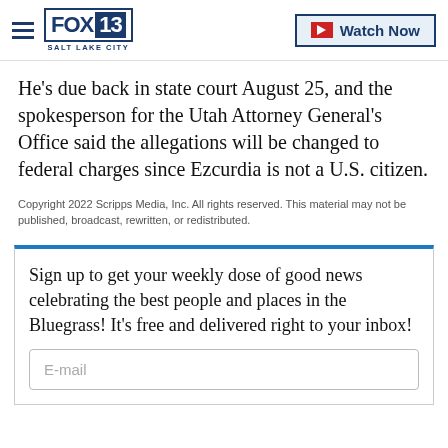FOX 13 SALT LAKE CITY — Watch Now
He’s due back in state court August 25, and the spokesperson for the Utah Attorney General’s Office said the allegations will be changed to federal charges since Ezcurdia is not a U.S. citizen.
Copyright 2022 Scripps Media, Inc. All rights reserved. This material may not be published, broadcast, rewritten, or redistributed.
Sign up to get your weekly dose of good news celebrating the best people and places in the Bluegrass! It’s free and delivered right to your inbox!